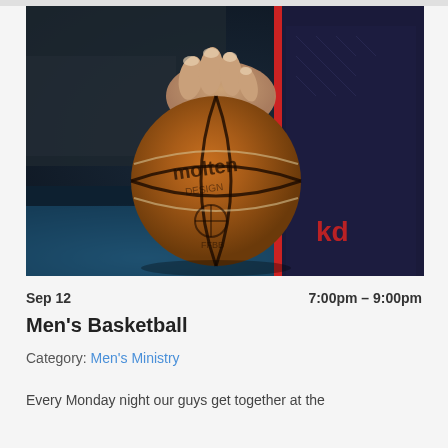[Figure (photo): A person holding a Molten FIBA basketball, wearing a dark NBA-style jersey with red stripe, against a blurred basketball court background.]
Sep 12	7:00pm – 9:00pm
Men's Basketball
Category: Men's Ministry
Every Monday night our guys get together at the